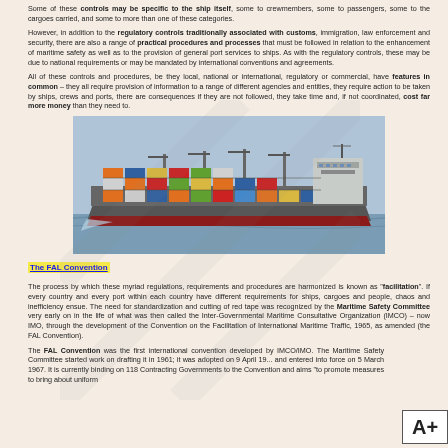Some of these controls may be specific to the ship itself, some to crewmembers, some to passengers, some to the cargoes carried, and some to more than one of these categories.
However, in addition to the regulatory controls traditionally associated with customs, immigration, law enforcement and security, there are also a range of practical procedures and processes that must be followed in relation to the enhancement of maritime safety as well as to the provision of general port services to ships. As with the regulatory controls, these may be due to national requirements or may be mandated by international conventions and agreements.
All of these controls and procedures, be they local, national or international, regulatory or commercial, have features in common – they all require provision of information to a range of different agencies and entities, they require action to be taken by ships, crews and ports, there are consequences if they are not followed, they take time and, if not coordinated, cost far more money than they need to.
[Figure (photo): Photograph of a large container ship loaded with colourful cargo containers, sailing on the sea.]
The FAL Convention
The process by which these myriad regulations, requirements and procedures are harmonized is known as "facilitation". If every country and every port within each country have different requirements for ships, cargoes and people, chaos and inefficiency ensue. The need for standardization and cutting of red tape was recognized by the Maritime Safety Committee very early on in the life of what was then called the Inter-Governmental Maritime Consultative Organization (IMCO) – now IMO, through the development of the Convention on the Facilitation of International Maritime Traffic, 1965, as amended (the FAL Convention).
The FAL Convention was the first international convention developed by IMCO/IMO. The Maritime Safety Committee started work on drafting it in 1961; it was adopted on 9 April 19... and entered into force on 5 March 1967. It is currently binding on 118 Contracting Governments to the Convention and aims "to promote measures to bring about uniform...